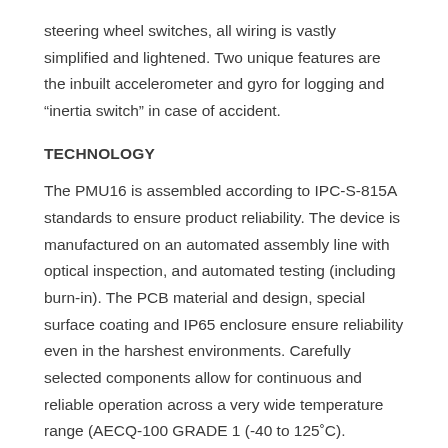steering wheel switches, all wiring is vastly simplified and lightened. Two unique features are the inbuilt accelerometer and gyro for logging and “inertia switch” in case of accident.
TECHNOLOGY
The PMU16 is assembled according to IPC-S-815A standards to ensure product reliability. The device is manufactured on an automated assembly line with optical inspection, and automated testing (including burn-in). The PCB material and design, special surface coating and IP65 enclosure ensure reliability even in the harshest environments. Carefully selected components allow for continuous and reliable operation across a very wide temperature range (AECQ-100 GRADE 1 (-40 to 125°C).
GENERAL SPECIFICATIONS